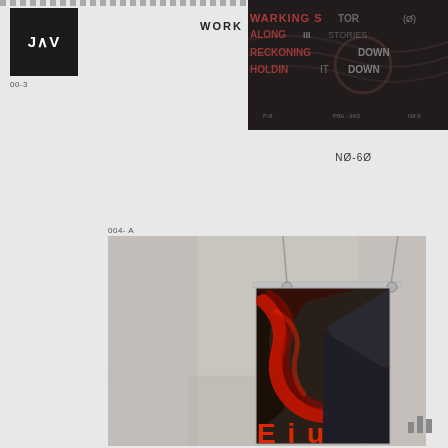WORK   DELTA
[Figure (logo): Black square logo with white text JAV]
00-3
[Figure (photo): Dark textured collage with overlapping distorted text including WARKING, STORIES, HOLDING IT DOWN, RECKONING, styled in red and grey halftone aesthetic]
NØ-6Ø
004- A
[Figure (photo): A dark red and black graphic poster hung by cables against a concrete wall, showing abstract swooping shapes in red on dark background, with red text partially visible at the bottom]